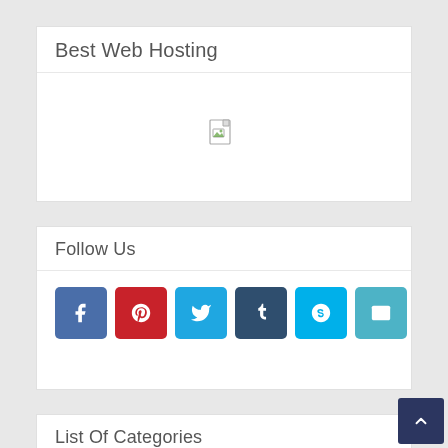Best Web Hosting
[Figure (photo): Broken/missing image placeholder in the Best Web Hosting widget]
Follow Us
[Figure (infographic): Row of six social media icon buttons: Facebook (blue), Pinterest (red), Twitter (light blue), Tumblr (dark blue), Skype (cyan), Email (teal)]
List Of Categories
Auto